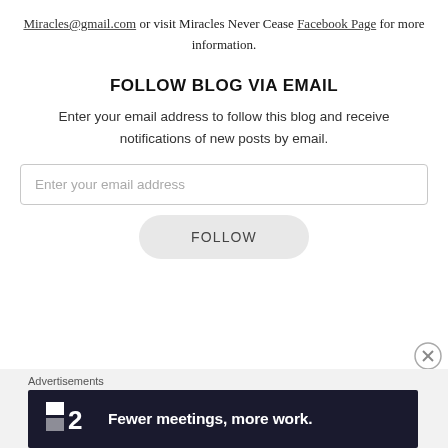Miracles@gmail.com or visit Miracles Never Cease Facebook Page for more information.
FOLLOW BLOG VIA EMAIL
Enter your email address to follow this blog and receive notifications of new posts by email.
Enter your email address
FOLLOW
Advertisements
[Figure (screenshot): Dark banner advertisement for a product showing logo '2' and text 'Fewer meetings, more work.']